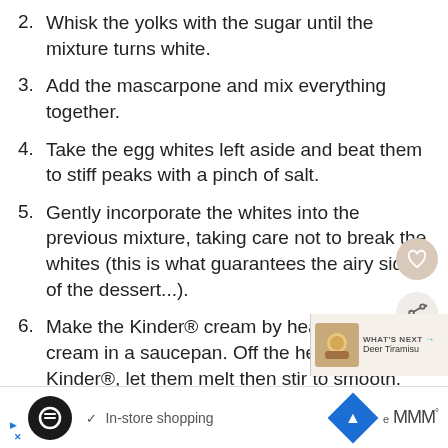2. Whisk the yolks with the sugar until the mixture turns white.
3. Add the mascarpone and mix everything together.
4. Take the egg whites left aside and beat them to stiff peaks with a pinch of salt.
5. Gently incorporate the whites into the previous mixture, taking care not to break the whites (this is what guarantees the airy side of the dessert...).
6. Make the Kinder® cream by heating the liquid cream in a saucepan. Off the heat, add the Kinder®, let them melt then stir to smooth.
7. Cut the boudoirs to the size of your glasses
In-store shopping